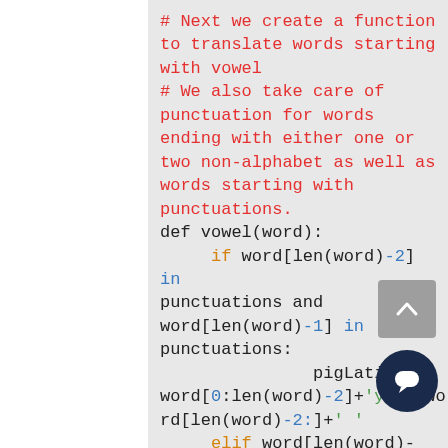[Figure (screenshot): Python code block on gray background showing comments about a vowel translation function and the beginning of the def vowel(word) function with pig Latin logic including bracket indexing, punctuation handling, and pigLatin variable assignment.]